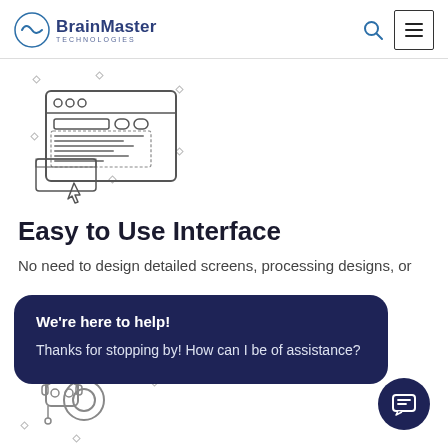BrainMaster Technologies
[Figure (illustration): Line art icon of a browser/interface window with UI elements and a cursor/hand pointer below it, with small diamond decorative elements around it]
Easy to Use Interface
No need to design detailed screens, processing designs, or ou... al...
[Figure (infographic): Dark navy blue chat popup overlay with title 'We're here to help!' and message 'Thanks for stopping by! How can I be of assistance?']
[Figure (illustration): Line art icon of a robot/support agent with headset and gear, with small diamond decorative elements around it]
[Figure (other): Dark navy circular chat button with speech bubble/message icon]